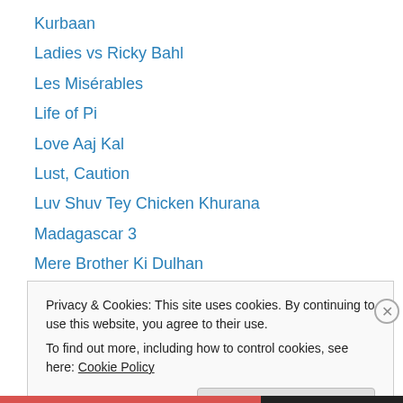Kurbaan
Ladies vs Ricky Bahl
Les Misérables
Life of Pi
Love Aaj Kal
Lust, Caution
Luv Shuv Tey Chicken Khurana
Madagascar 3
Mere Brother Ki Dulhan
My Name Is Khan
My Week With Marilyn
Nautanki Saala
New York
Privacy & Cookies: This site uses cookies. By continuing to use this website, you agree to their use.
To find out more, including how to control cookies, see here: Cookie Policy
Close and accept